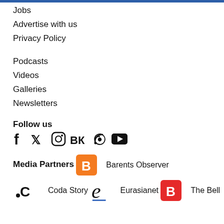Jobs
Advertise with us
Privacy Policy
Podcasts
Videos
Galleries
Newsletters
Follow us
[Figure (other): Social media icons: Facebook, Twitter, Instagram, VK, RSS, YouTube]
Media Partners
[Figure (logo): Barents Observer logo - orange square with white B]
Barents Observer
[Figure (logo): Coda Story logo - dot C monogram]
Coda Story
[Figure (logo): Eurasianet logo - stylized e with blue underline]
Eurasianet
[Figure (logo): The Bell logo - red square with white B]
The Bell